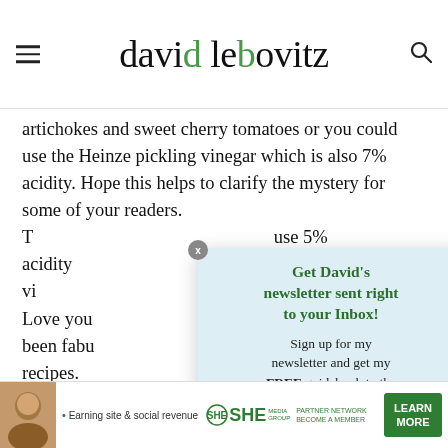david lebovitz
artichokes and sweet cherry tomatoes or you could use the Heinze pickling vinegar which is also 7% acidity. Hope this helps to clarify the mystery for some of your readers. T[...] use 5% acidity vi[...]
Love you[...] ed have been fabu[...] d recipes.
[Figure (other): Newsletter signup modal popup with green text headline 'Get David's newsletter sent right to your Inbox!' and body text 'Sign up for my newsletter and get my FREE guidebook to the best bakeries and pastry shops in Paris...' with a green CTA button 'Click HERE to subscribe']
David
juivalen[...]
[Figure (infographic): SHE Partner Network advertisement banner at bottom of page showing a woman, text '• Earning site & social revenue', SHE logo, PARTNER NETWORK, BECOME A MEMBER, and LEARN MORE button]